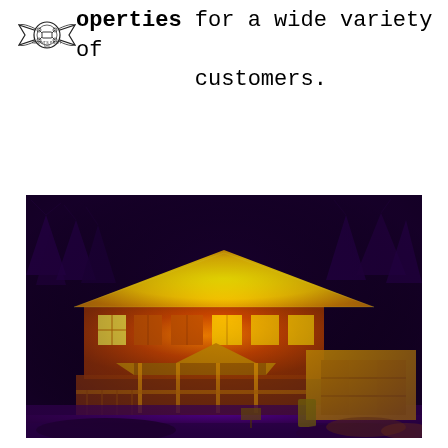operties for a wide variety of customers.
[Figure (photo): Thermal infrared image of a two-story residential house with attached garage. The roof and walls glow yellow/orange indicating heat loss, surrounded by purple/dark cool background with bare winter trees. Taken by drone at night or dusk.]